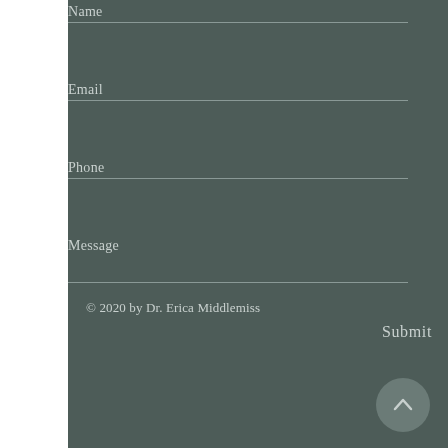Name
Email
Phone
Message
Submit
© 2020 by Dr. Erica Middlemiss
[Figure (illustration): Scroll to top button — circular grey button with an upward-pointing chevron arrow]